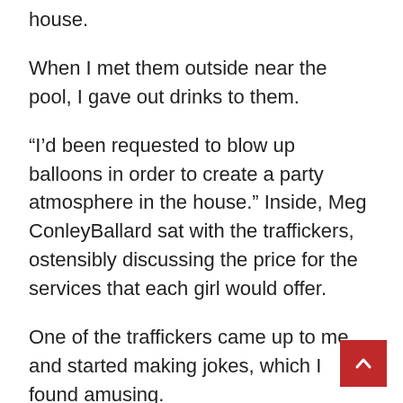house.
When I met them outside near the pool, I gave out drinks to them.
“I’d been requested to blow up balloons in order to create a party atmosphere in the house.” Inside, Meg ConleyBallard sat with the traffickers, ostensibly discussing the price for the services that each girl would offer.
One of the traffickers came up to me and started making jokes, which I found amusing.
Ballard was putting money on the coffee table, and I was watching him.
The raid got underway.